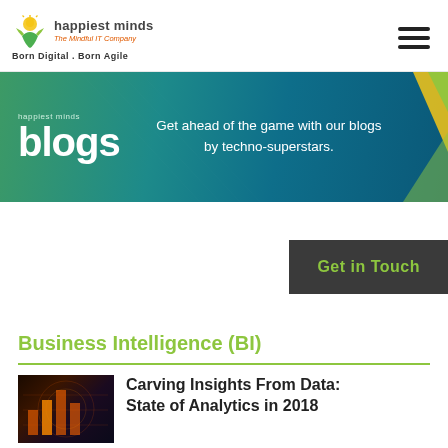happiest minds | Born Digital . Born Agile
[Figure (screenshot): Happiest Minds blogs banner with teal/green gradient background, 'happiest minds blogs' text on left and 'Get ahead of the game with our blogs by techno-superstars.' on right]
Get in Touch
Business Intelligence (BI)
Carving Insights From Data: State of Analytics in 2018